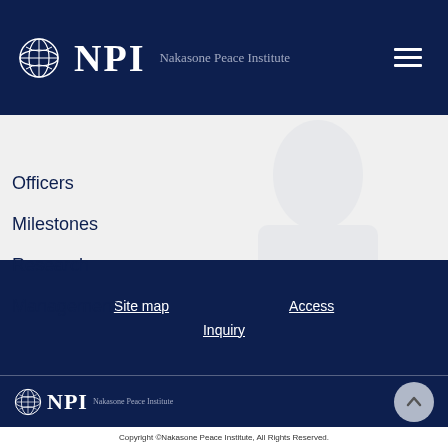[Figure (logo): NPI Nakasone Peace Institute logo with globe icon on dark navy header bar]
Officers
Milestones
Research
Management
Site map
Access
Inquiry
[Figure (logo): NPI Nakasone Peace Institute footer logo with globe icon on dark navy background, with scroll-to-top button]
Copyright ©Nakasone Peace Institute, All Rights Reserved.